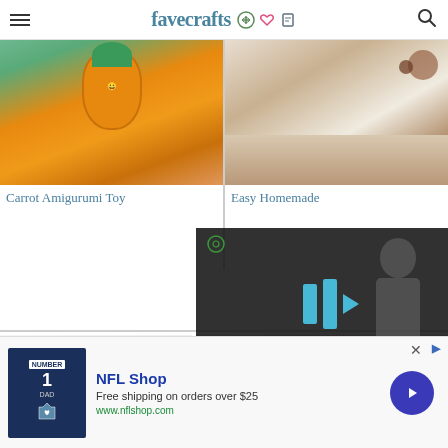favecrafts
[Figure (photo): Crocheted carrot amigurumi toy with orange body and green top, smiling face]
[Figure (photo): Slice of homemade layered cake with cream and chocolate topping on white plate]
Carrot Amigurumi Toy
Easy Homemade
[Figure (photo): Crocheted white and yellow textured vase or bottle shape]
[Figure (screenshot): Video player overlay showing paused video with blue play bar icon, target icon, and mute button]
[Figure (photo): Quilt or fabric pattern with floral design]
[Figure (screenshot): NFL Shop advertisement banner with jersey image, free shipping offer, and call-to-action button]